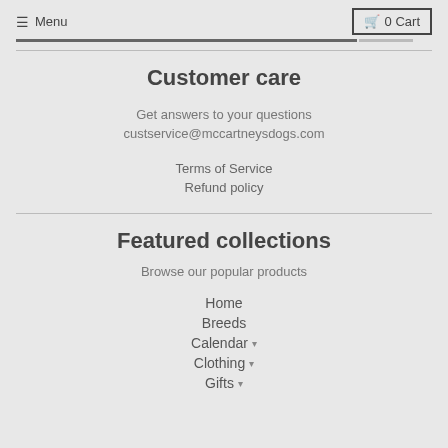Menu  0 Cart
Customer care
Get answers to your questions
custservice@mccartneysdogs.com
Terms of Service
Refund policy
Featured collections
Browse our popular products
Home
Breeds
Calendar ▾
Clothing ▾
Gifts ▾